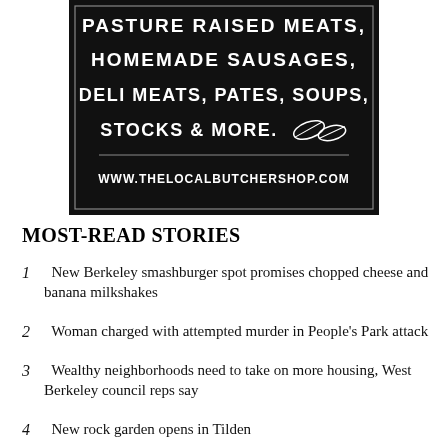[Figure (illustration): Black background advertisement sign with white chalk-style lettering reading: PASTURE RAISED MEATS, HOMEMADE SAUSAGES, DELI MEATS, PATES, SOUPS, STOCKS & MORE. [leaf decorations] WWW.THELOCALBUTCHERSHOP.COM]
MOST-READ STORIES
1  New Berkeley smashburger spot promises chopped cheese and banana milkshakes
2  Woman charged with attempted murder in People's Park attack
3  Wealthy neighborhoods need to take on more housing, West Berkeley council reps say
4  New rock garden opens in Tilden